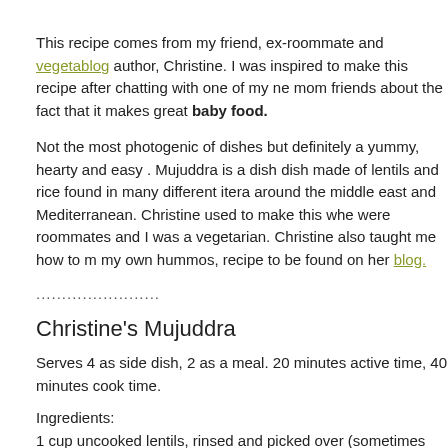This recipe comes from my friend, ex-roommate and vegetablog author, Christine. I was inspired to make this recipe after chatting with one of my ne mom friends about the fact that it makes great baby food.
Not the most photogenic of dishes but definitely a yummy, hearty and easy . Mujuddra is a dish dish made of lentils and rice found in many different itera around the middle east and Mediterranean. Christine used to make this whe were roommates and I was a vegetarian. Christine also taught me how to m my own hummos, recipe to be found on her blog.
........................
Christine's Mujuddra
Serves 4 as side dish, 2 as a meal. 20 minutes active time, 40 minutes cook time.
Ingredients:
1 cup uncooked lentils, rinsed and picked over (sometimes tiny pebbles get there)
4 cups water